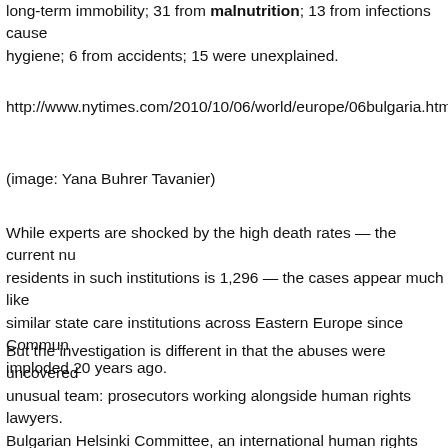long-term immobility; 31 from malnutrition; 13 from infections caused by poor hygiene; 6 from accidents; 15 were unexplained.
http://www.nytimes.com/2010/10/06/world/europe/06bulgaria.html
(image: Yana Buhrer Tavanier)
While experts are shocked by the high death rates — the current number of residents in such institutions is 1,296 — the cases appear much like those at similar state care institutions across Eastern Europe since Communism imploded 20 years ago.
But the investigation is different in that the abuses were uncovered by an unusual team: prosecutors working alongside human rights lawyers from the Bulgarian Helsinki Committee, an international human rights organization based in Sofia. The effort represents a strategic break from the familiar pattern of advocates' naming and shaming governments for appalling standards of care for their societies' most vulnerable citizens.
Evidence was collected to identify those guilty of crimes and build legal cases to send them to prison.
“It’s about ending impunity,” said Margarita Ilieva, legal director at the